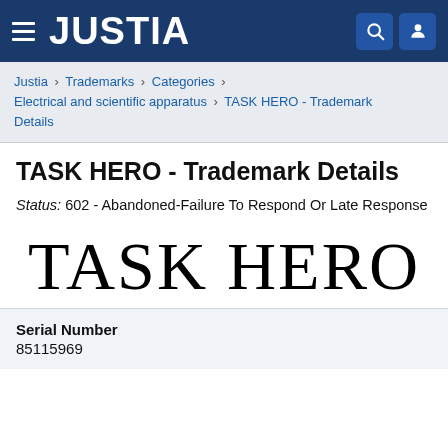JUSTIA
Justia › Trademarks › Categories › Electrical and scientific apparatus › TASK HERO - Trademark Details
TASK HERO - Trademark Details
Status: 602 - Abandoned-Failure To Respond Or Late Response
[Figure (other): Trademark wordmark displaying 'TASK HERO' in large serif font]
Serial Number
85115969